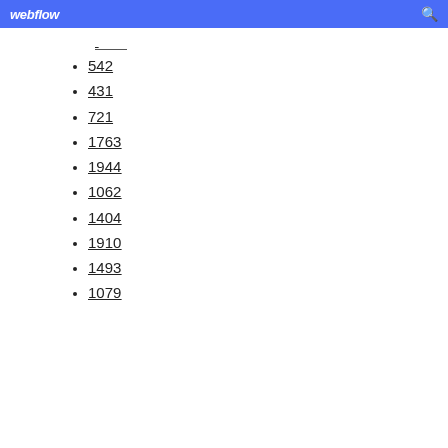webflow
542
431
721
1763
1944
1062
1404
1910
1493
1079